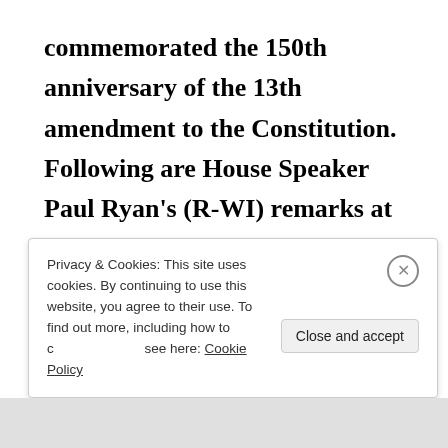commemorated the 150th anniversary of the 13th amendment to the Constitution. Following are House Speaker Paul Ryan's (R-WI) remarks at the ceremony, as prepared for delivery: The Thirteenth Amendment is just 43 words long. It is so short that, when you read it, you can almost miss the whole significance
Privacy & Cookies: This site uses cookies. By continuing to use this website, you agree to their use. To find out more, including how to control cookies, see here: Cookie Policy